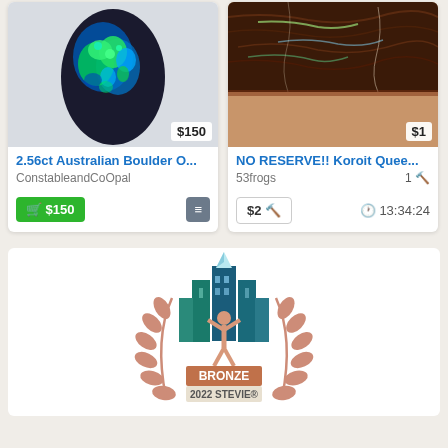[Figure (screenshot): Product listing card for '2.56ct Australian Boulder O...' by ConstableandCoOpal, priced at $150, with green shopping cart button and compare button]
[Figure (screenshot): Product listing card for 'NO RESERVE!! Koroit Quee...' by 53frogs, current bid $2, timer 13:34:24, priced at $1]
[Figure (logo): Bronze 2022 Stevie Award logo with stylized figure holding trophy, flanked by laurel branches]